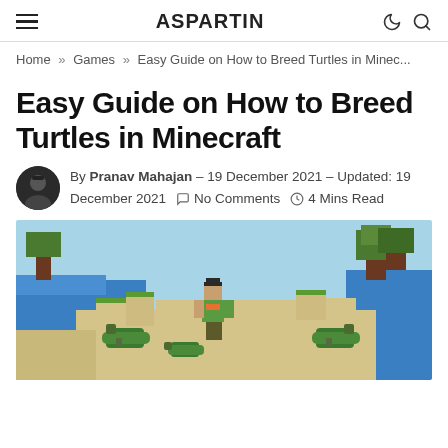ASPARTIN
Home » Games » Easy Guide on How to Breed Turtles in Minec...
Easy Guide on How to Breed Turtles in Minecraft
By Pranav Mahajan – 19 December 2021 – Updated: 19 December 2021   No Comments   4 Mins Read
[Figure (photo): Minecraft scene showing a player character surrounded by turtles on a sandy beach with water and trees in the background]